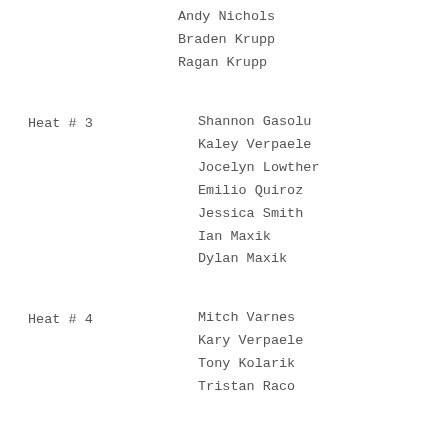Andy Nichols
Braden Krupp
Ragan Krupp
Heat # 3
Shannon Gasolu
Kaley Verpaele
Jocelyn Lowther
Emilio Quiroz
Jessica Smith
Ian Maxik
Dylan Maxik
Heat # 4
Mitch Varnes
Kary Verpaele
Tony Kolarik
Tristan Raco